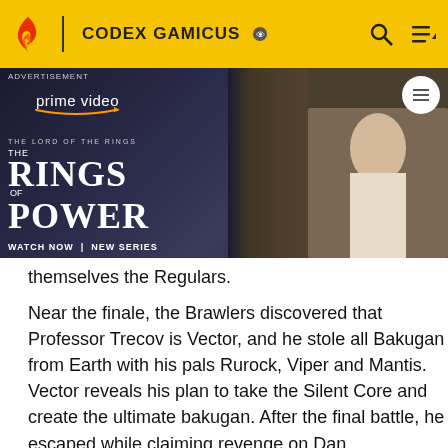CODEX GAMICUS
[Figure (screenshot): Amazon Prime Video advertisement banner for 'The Lord of the Rings: The Rings of Power'. Shows a cloaked stone figure on the left and blonde actress with others on the right. Text reads: prime video, THE LORD OF THE RINGS THE RINGS OF POWER, WATCH NOW | NEW SERIES]
themselves the Regulars.
Near the finale, the Brawlers discovered that Professor Trecov is Vector, and he stole all Bakugan from Earth with his pals Rurock, Viper and Mantis. Vector reveals his plan to take the Silent Core and create the ultimate bakugan. After the final battle, he escaped while claiming revenge on Dan.
In the game's ending, Masquerade appears angered